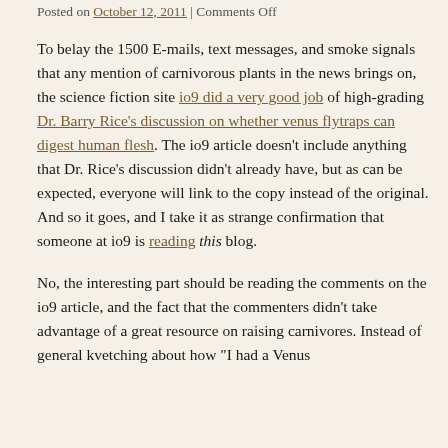Posted on October 12, 2011 | Comments Off
To belay the 1500 E-mails, text messages, and smoke signals that any mention of carnivorous plants in the news brings on, the science fiction site io9 did a very good job of high-grading Dr. Barry Rice’s discussion on whether venus flytraps can digest human flesh. The io9 article doesn’t include anything that Dr. Rice’s discussion didn’t already have, but as can be expected, everyone will link to the copy instead of the original. And so it goes, and I take it as strange confirmation that someone at io9 is reading this blog.
No, the interesting part should be reading the comments on the io9 article, and the fact that the commenters didn’t take advantage of a great resource on raising carnivores. Instead of general kvetching about how “I had a Venus